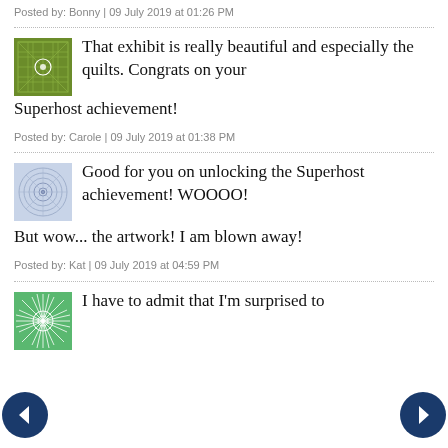Posted by: Bonny | 09 July 2019 at 01:26 PM
That exhibit is really beautiful and especially the quilts. Congrats on your Superhost achievement!
Posted by: Carole | 09 July 2019 at 01:38 PM
Good for you on unlocking the Superhost achievement! WOOOO! But wow... the artwork! I am blown away!
Posted by: Kat | 09 July 2019 at 04:59 PM
[Figure (illustration): Navigation arrows: left arrow (back) and right arrow (forward) as dark blue circular buttons]
I have to admit that I'm surprised to